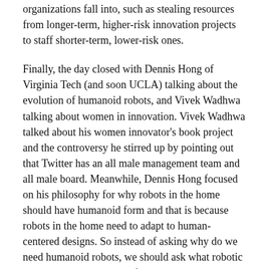organizations fall into, such as stealing resources from longer-term, higher-risk innovation projects to staff shorter-term, lower-risk ones.
Finally, the day closed with Dennis Hong of Virginia Tech (and soon UCLA) talking about the evolution of humanoid robots, and Vivek Wadhwa talking about women in innovation. Vivek Wadhwa talked about his women innovator's book project and the controversy he stirred up by pointing out that Twitter has an all male management team and all male board. Meanwhile, Dennis Hong focused on his philosophy for why robots in the home should have humanoid form and that is because robots in the home need to adapt to human-centered designs. So instead of asking why do we need humanoid robots, we should ask what robotic tasks require a humanoid form? This is leading them to focus on robots for firefighting and other hazardous situations, to help save human lives.
If ever out there for a new data didn't have a chance for